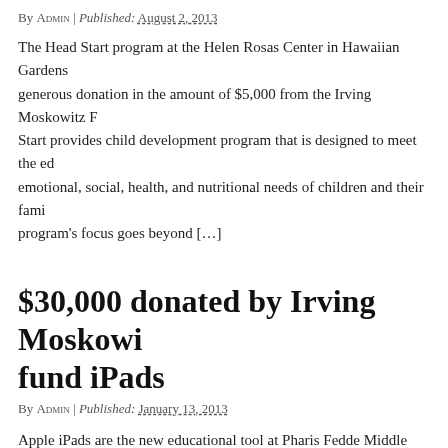By ADMIN | Published: AUGUST 2, 2013
The Head Start program at the Helen Rosas Center in Hawaiian Gardens generous donation in the amount of $5,000 from the Irving Moskowitz F Start provides child development program that is designed to meet the ed emotional, social, health, and nutritional needs of children and their fami program's focus goes beyond […]
$30,000 donated by Irving Moskowitz fund iPads
By ADMIN | Published: JANUARY 13, 2013
Apple iPads are the new educational tool at Pharis Fedde Middle School. Moskowitz without hesitation contributed a generous $30,000 to the mid Global Scholar Honors Program for the purchase of iPads to be used by t the program. In accordance with the school program's mission to encour pursue higher […]